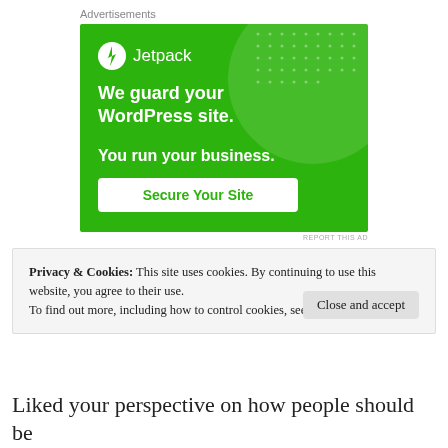Advertisements
[Figure (illustration): Jetpack advertisement banner on green background. Logo top-left with lightning bolt icon and 'Jetpack' text. Headline: 'We guard your WordPress site. You run your business.' White button: 'Secure Your Site']
REPORT THIS AD
Privacy & Cookies: This site uses cookies. By continuing to use this website, you agree to their use.
To find out more, including how to control cookies, see here: Cookie Policy
Close and accept
Liked your perspective on how people should be